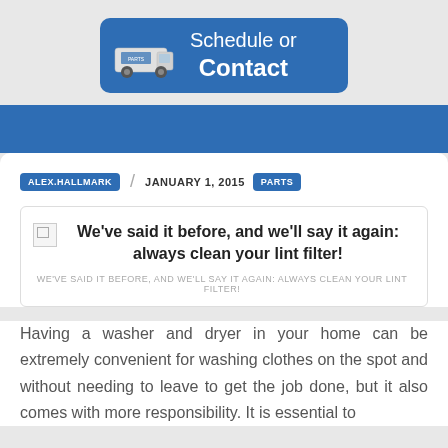[Figure (illustration): Blue rounded rectangle button with a white van/truck graphic on the left and white text reading 'Schedule or Contact']
ALEX.HALLMARK / JANUARY 1, 2015 PARTS
[Figure (illustration): Featured box with broken image icon and bold title text: We've said it before, and we'll say it again: always clean your lint filter! With uppercase subtitle below.]
Having a washer and dryer in your home can be extremely convenient for washing clothes on the spot and without needing to leave to get the job done, but it also comes with more responsibility. It is essential to